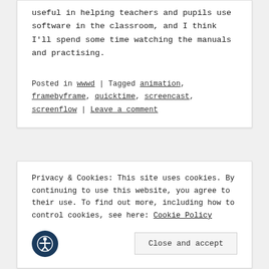useful in helping teachers and pupils use software in the classroom, and I think I'll spend some time watching the manuals and practising.
Posted in wwwd | Tagged animation, framebyframe, quicktime, screencast, screenflow | Leave a comment
Privacy & Cookies: This site uses cookies. By continuing to use this website, you agree to their use. To find out more, including how to control cookies, see here: Cookie Policy